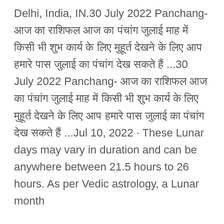Delhi, India, IN.30 July 2022 Panchang- आज का राशिफल आज का पंचांग जुलाई माह में किसी भी शुभ कार्य के लिए मुहूर्त देखने के लिए आप हमारे पास जुलाई का पंचांग देख सकते हैं ...30 July 2022 Panchang- आज का राशिफल आज का पंचांग जुलाई माह में किसी भी शुभ कार्य के लिए मुहूर्त देखने के लिए आप हमारे पास जुलाई का पंचांग देख सकते हैं ...Jul 10, 2022 · These Lunar days may vary in duration and can be anywhere between 21.5 hours to 26 hours. As per Vedic astrology, a Lunar month